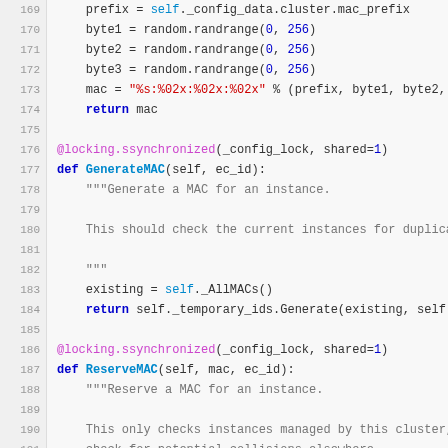[Figure (screenshot): Python source code showing methods GenerateMAC and ReserveMAC in a class, with syntax highlighting. Lines 169-194 visible. Uses monospace font on light gray background with line numbers.]